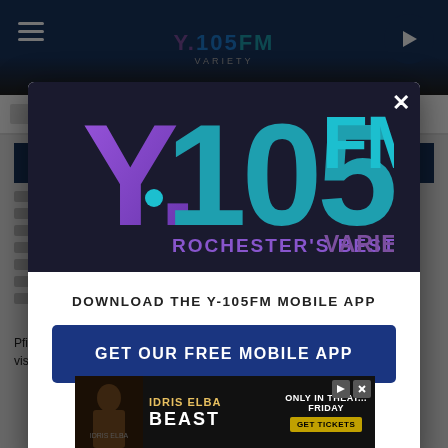[Figure (screenshot): Y-105FM website background with header, navigation, and article content visible behind modal overlay]
[Figure (logo): Y.105FM Rochester's Best Variety radio station logo inside modal popup - purple and teal colors]
DOWNLOAD THE Y-105FM MOBILE APP
GET OUR FREE MOBILE APP
Also listen on:   amazon alexa
[Figure (advertisement): Movie advertisement banner for Beast starring Idris Elba - Only in Theaters Friday, Get Tickets]
Pfizer-b...nd visit w...